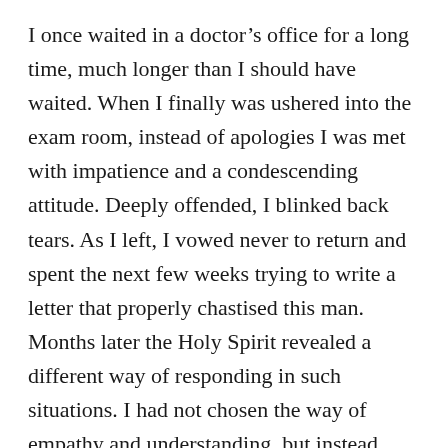I once waited in a doctor's office for a long time, much longer than I should have waited. When I finally was ushered into the exam room, instead of apologies I was met with impatience and a condescending attitude. Deeply offended, I blinked back tears. As I left, I vowed never to return and spent the next few weeks trying to write a letter that properly chastised this man. Months later the Holy Spirit revealed a different way of responding in such situations. I had not chosen the way of empathy and understanding, but instead self-pity. The Merriam-Webster Dictionary describes this attitude as “a self-indulgent dwelling on one’s own sorrows or misfortunes.” Would you want to be described as someone who feels sorry for herself?